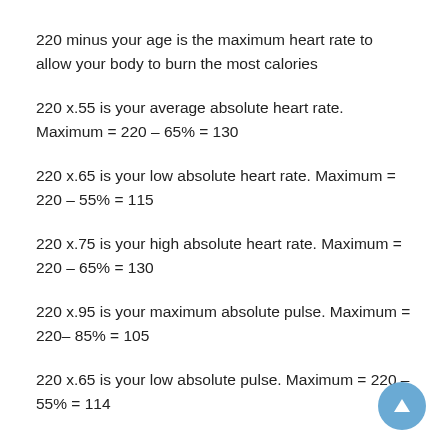220 minus your age is the maximum heart rate to allow your body to burn the most calories
220 x.55 is your average absolute heart rate. Maximum = 220 – 65% = 130
220 x.65 is your low absolute heart rate. Maximum = 220 – 55% = 115
220 x.75 is your high absolute heart rate. Maximum = 220 – 65% = 130
220 x.95 is your maximum absolute pulse. Maximum = 220– 85% = 105
220 x.65 is your low absolute pulse. Maximum = 220 – 55% = 114